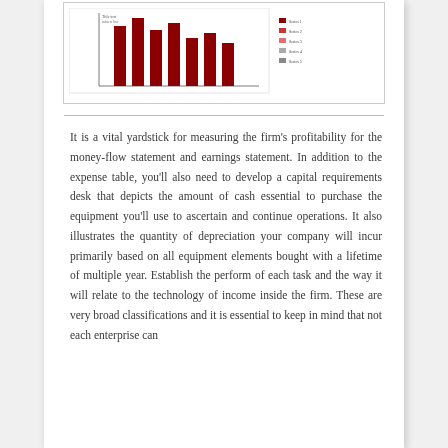[Figure (bar-chart): A bar chart with dark red/maroon spikes visible at the top of the page, partially cropped, with a legend on the right side.]
It is a vital yardstick for measuring the firm's profitability for the money-flow statement and earnings statement. In addition to the expense table, you'll also need to develop a capital requirements desk that depicts the amount of cash essential to purchase the equipment you'll use to ascertain and continue operations. It also illustrates the quantity of depreciation your company will incur primarily based on all equipment elements bought with a lifetime of multiple year. Establish the perform of each task and the way it will relate to the technology of income inside the firm. These are very broad classifications and it is essential to keep in mind that not each enterprise can